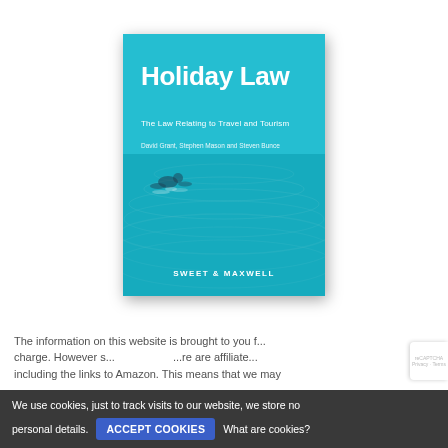[Figure (illustration): Book cover of 'Holiday Law: The Law Relating to Travel and Tourism' by David Grant, Stephen Mason and Steven Bunce, published by Sweet & Maxwell. The cover features a teal/turquoise water background with a swimmer visible in the water.]
The information on this website is brought to you free of charge. However some of the links are affiliate links including the links to Amazon. This means that we may
We use cookies, just to track visits to our website, we store no personal details. What are cookies?
ACCEPT COOKIES